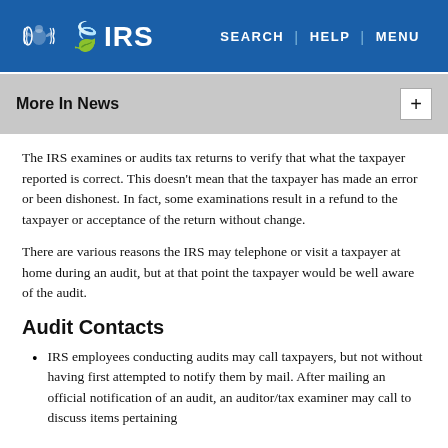IRS | SEARCH | HELP | MENU
More In News
The IRS examines or audits tax returns to verify that what the taxpayer reported is correct. This doesn't mean that the taxpayer has made an error or been dishonest. In fact, some examinations result in a refund to the taxpayer or acceptance of the return without change.
There are various reasons the IRS may telephone or visit a taxpayer at home during an audit, but at that point the taxpayer would be well aware of the audit.
Audit Contacts
IRS employees conducting audits may call taxpayers, but not without having first attempted to notify them by mail. After mailing an official notification of an audit, an auditor/tax examiner may call to discuss items pertaining